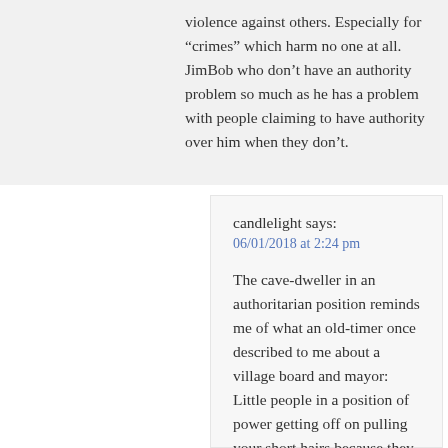violence against others. Especially for “crimes” which harm no one at all. JimBob who don’t have an authority problem so much as he has a problem with people claiming to have authority over him when they don’t.
candlelight says:
06/01/2018 at 2:24 pm
The cave-dweller in an authoritarian position reminds me of what an old-timer once described to me about a village board and mayor: Little people in a position of power getting off on pulling your short hairs because they can….
About TSA agents, et al: I just can’t